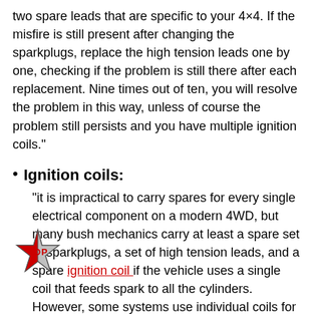two spare leads that are specific to your 4×4. If the misfire is still present after changing the sparkplugs, replace the high tension leads one by one, checking if the problem is still there after each replacement. Nine times out of ten, you will resolve the problem in this way, unless of course the problem still persists and you have multiple ignition coils."
Ignition coils:
"it is impractical to carry spares for every single electrical component on a modern 4WD, but many bush mechanics carry at least a spare set of sparkplugs, a set of high tension leads, and a spare ignition coil if the vehicle uses a single coil that feeds spark to all the cylinders. However, some systems use individual coils for each cylinder, known as pencil coils, so if you have such a system, carry at least two of these coils as well. Therefore, if the misfire persists after having changed the sparkplugs and the high-tension leads, and you have an
[Figure (logo): TOP star logo — a red and silver star shape with the word TOP in red bold letters]